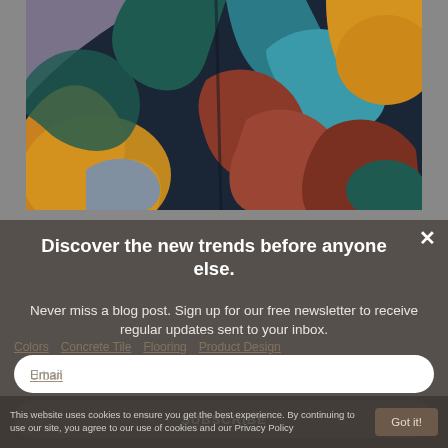[Figure (illustration): Abstract geometric artwork with organic curved shapes in dark navy, teal, orange/amber, rust/terracotta, grey, and muted blue colors arranged in an interlocking pattern reminiscent of mosaic tiles or abstract painting.]
Discover the new trends before anyone else.
Never miss a blog post. Sign up for our free newsletter to receive regular updates sent to your inbox.
Email
SUBSCRIBE
This website uses cookies to ensure you get the best experience. By continuing to use our site, you agree to our use of cookies and our Privacy Policy
Got it!